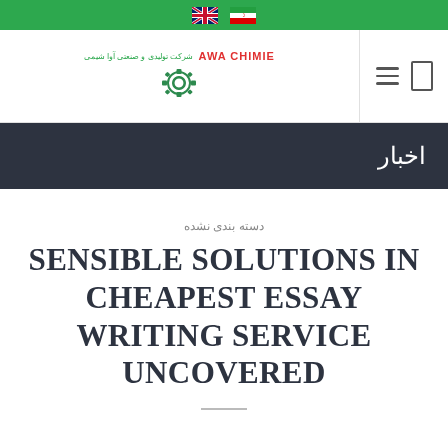[Figure (logo): Top green navigation bar with UK flag and Iran flag icons]
[Figure (logo): Awa Chimie company logo with gear icon and Persian text, plus hamburger menu and search icon]
اخبار
دسته بندی نشده
SENSIBLE SOLUTIONS IN CHEAPEST ESSAY WRITING SERVICE UNCOVERED